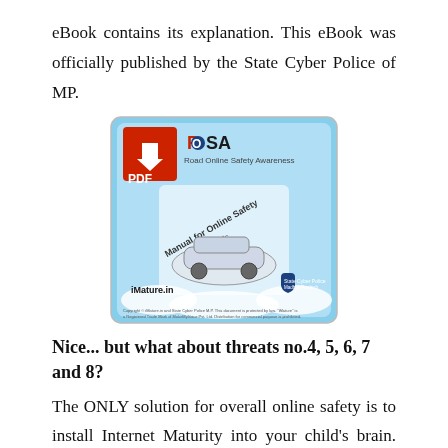eBook contains its explanation. This eBook was officially published by the State Cyber Police of MP.
[Figure (photo): Cover of the ROSA (Road Online Safety Awareness) eBook/PDF showing a smartphone with a car image, published by iMature.in and State Cyber Police, Madhya Pradesh. Has a red PDF download icon in the top left corner.]
Nice... but what about threats no.4, 5, 6, 7 and 8?
The ONLY solution for overall online safety is to install Internet Maturity into your child's brain. Having DCIM skills is like having the LICENSE to